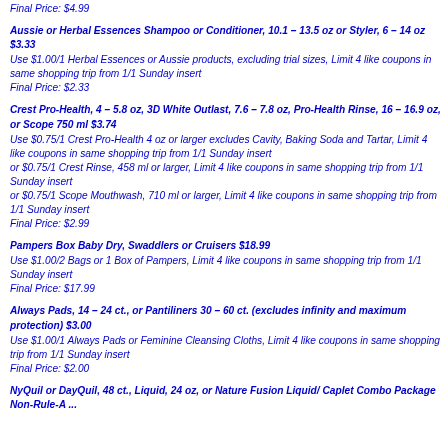Final Price: $4.99
Aussie or Herbal Essences Shampoo or Conditioner, 10.1 – 13.5 oz or Styler, 6 – 14 oz $3.33
Use $1.00/1 Herbal Essences or Aussie products, excluding trial sizes, Limit 4 like coupons in same shopping trip from 1/1 Sunday insert
Final Price: $2.33
Crest Pro-Health, 4 – 5.8 oz, 3D White Outlast, 7.6 – 7.8 oz, Pro-Health Rinse, 16 – 16.9 oz, or Scope 750 ml $3.74
Use $0.75/1 Crest Pro-Health 4 oz or larger excludes Cavity, Baking Soda and Tartar, Limit 4 like coupons in same shopping trip from 1/1 Sunday insert
or $0.75/1 Crest Rinse, 458 ml or larger, Limit 4 like coupons in same shopping trip from 1/1 Sunday insert
or $0.75/1 Scope Mouthwash, 710 ml or larger, Limit 4 like coupons in same shopping trip from 1/1 Sunday insert
Final Price: $2.99
Pampers Box Baby Dry, Swaddlers or Cruisers $18.99
Use $1.00/2 Bags or 1 Box of Pampers, Limit 4 like coupons in same shopping trip from 1/1 Sunday insert
Final Price: $17.99
Always Pads, 14 – 24 ct., or Pantiliners 30 – 60 ct. (excludes infinity and maximum protection) $3.00
Use $1.00/1 Always Pads or Feminine Cleansing Cloths, Limit 4 like coupons in same shopping trip from 1/1 Sunday insert
Final Price: $2.00
NyQuil or DayQuil, 48 ct., Liquid, 24 oz, or Nature Fusion Liquid/ Caplet Combo Package Non-Rule-A ...